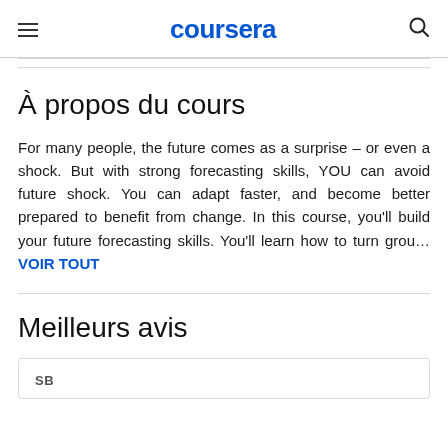coursera
À propos du cours
For many people, the future comes as a surprise – or even a shock. But with strong forecasting skills, YOU can avoid future shock. You can adapt faster, and become better prepared to benefit from change. In this course, you'll build your future forecasting skills. You'll learn how to turn grou… VOIR TOUT
Meilleurs avis
SB